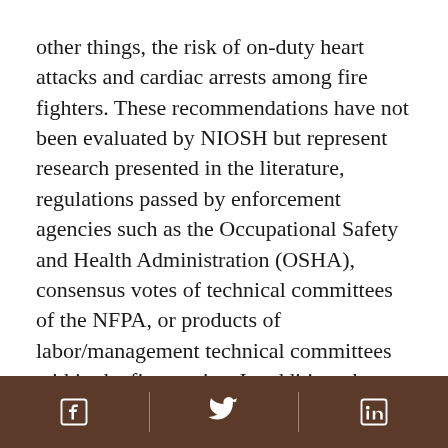other things, the risk of on-duty heart attacks and cardiac arrests among fire fighters. These recommendations have not been evaluated by NIOSH but represent research presented in the literature, regulations passed by enforcement agencies such as the Occupational Safety and Health Administration (OSHA), consensus votes of technical committees of the NFPA, or products of labor/management technical committees within the fire service. In addition, they are presented in a logical programmatic order, and are not necessarily listed in order of priority. This preventative strategy consists of (1) minimizing physical stress on fire fighters, (2) screening to identify and subsequently rehabilitate high risk individuals, and (3) encouraging increased individual physical capacity (fitness). Steps
[Facebook] [Twitter] [LinkedIn]